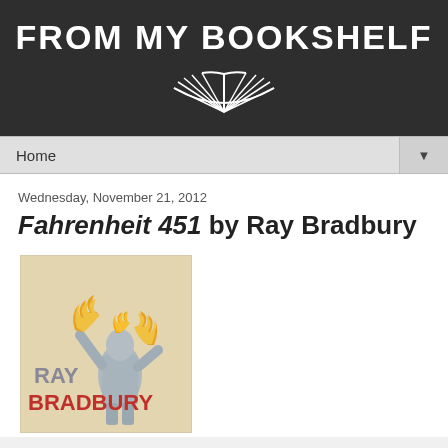FROM MY BOOKSHELF
Home
Wednesday, November 21, 2012
Fahrenheit 451 by Ray Bradbury
[Figure (illustration): Book cover of Fahrenheit 451 by Ray Bradbury showing a figure engulfed in flames with text RAY BRADBURY in large red letters]